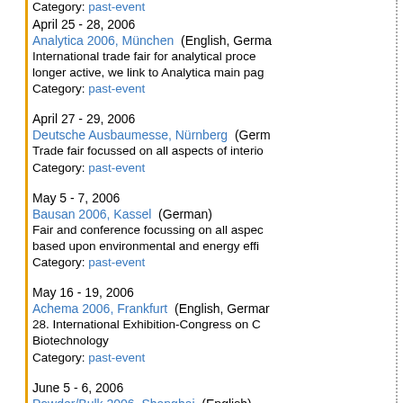Category: past-event
April 25 - 28, 2006
Analytica 2006, München (English, German)
International trade fair for analytical process... longer active, we link to Analytica main page.
Category: past-event
April 27 - 29, 2006
Deutsche Ausbaumesse, Nürnberg (German)
Trade fair focussed on all aspects of interior...
Category: past-event
May 5 - 7, 2006
Bausan 2006, Kassel (German)
Fair and conference focussing on all aspects based upon environmental and energy efficiency.
Category: past-event
May 16 - 19, 2006
Achema 2006, Frankfurt (English, German)
28. International Exhibition-Congress on Chemistry and Biotechnology
Category: past-event
June 5 - 6, 2006
Powder/Bulk 2006, Shanghai (English)
International trade fair and conference for powder and bulk technologies.
Category: past-event